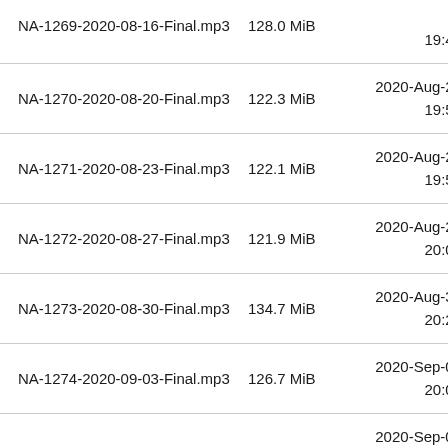| Filename | Size | Date/Time |
| --- | --- | --- |
| NA-1269-2020-08-16-Final.mp3 | 128.0 MiB | 2020-Aug-20
19:44 |
| NA-1270-2020-08-20-Final.mp3 | 122.3 MiB | 2020-Aug-20
19:57 |
| NA-1271-2020-08-23-Final.mp3 | 122.1 MiB | 2020-Aug-23
19:50 |
| NA-1272-2020-08-27-Final.mp3 | 121.9 MiB | 2020-Aug-27
20:01 |
| NA-1273-2020-08-30-Final.mp3 | 134.7 MiB | 2020-Aug-30
20:20 |
| NA-1274-2020-09-03-Final.mp3 | 126.7 MiB | 2020-Sep-03
20:03 |
| NA-1275-2020-09-06-Final.mp3 |  | 2020-Sep-06
 |